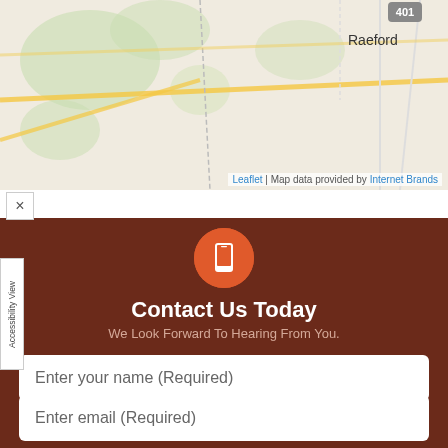[Figure (map): Street map showing Raeford area with roads, green areas, and route 401 marker]
Leaflet | Map data provided by Internet Brands
Contact Us Today
We Look Forward To Hearing From You.
Enter your name (Required)
Enter email (Required)
(XXX)XXX-XXXX (Required)
Notes to the Doctor